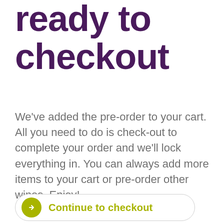ready to checkout
We've added the pre-order to your cart. All you need to do is check-out to complete your order and we'll lock everything in. You can always add more items to your cart or pre-order other wines. Enjoy!
Continue to checkout